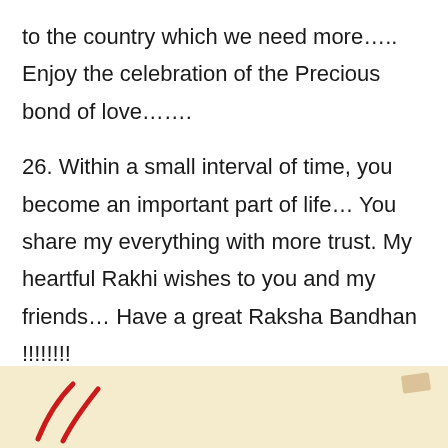to the country which we need more….. Enjoy the celebration of the Precious bond of love…….
26. Within a small interval of time, you become an important part of life… You share my everything with more trust. My heartful Rakhi wishes to you and my friends… Have a great Raksha Bandhan !!!!!!!
[Figure (photo): Bottom portion of a decorative card with cream/beige background, showing partial red brush strokes or decorative handwriting at the bottom left, and a small brown tape mark at the top right of the card.]